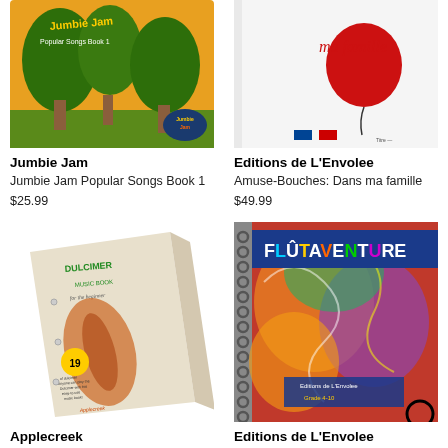[Figure (photo): Jumbie Jam Popular Songs Book 1 product image - orange jungle-themed music book cover]
Jumbie Jam
Jumbie Jam Popular Songs Book 1
$25.99
[Figure (photo): Editions de L'Envolee - Amuse-Bouches: Dans ma famille product image - white cover with red balloon and cursive text]
Editions de L'Envolee
Amuse-Bouches: Dans ma famille
$49.99
[Figure (photo): Applecreek - Grover Apple Creek Dulcimer Music Book for the Beginner product image]
Applecreek
Grover Apple Creek Dulcimer
[Figure (photo): Editions de L'Envolee - Flutaventure Grade 4-10 product image - spiral-bound book with colorful cover]
Editions de L'Envolee
Flutaventure - Grade 4-10